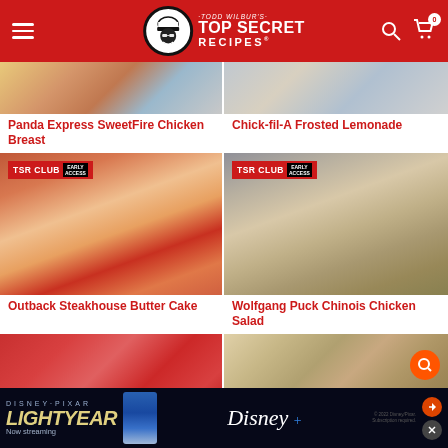[Figure (screenshot): Todd Wilbur's Top Secret Recipes website header with red background, logo, hamburger menu, search icon, and cart icon with badge 0]
[Figure (photo): Panda Express SweetFire Chicken Breast dish photo, top cropped]
[Figure (photo): Chick-fil-A Frosted Lemonade drink photo, top cropped]
Panda Express SweetFire Chicken Breast
Chick-fil-A Frosted Lemonade
[Figure (photo): Outback Steakhouse Butter Cake dessert with strawberry sauce, whipped cream, and mint, with TSR CLUB EARLY ACCESS badge]
[Figure (photo): Wolfgang Puck Chinois Chicken Salad in white bowl, with TSR CLUB EARLY ACCESS badge]
Outback Steakhouse Butter Cake
Wolfgang Puck Chinois Chicken Salad
[Figure (photo): Pizza dish photo, partially visible]
[Figure (photo): Food collage photo, partially visible]
[Figure (screenshot): Disney Pixar Lightyear advertisement banner — Now streaming on Disney+]